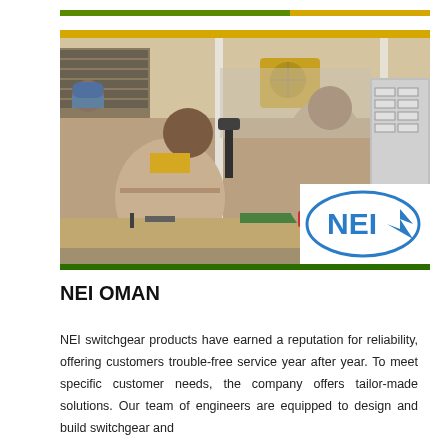[Figure (photo): Factory floor photo showing workers assembling switchgear equipment at workbenches, with NEI logo overlaid in bottom right corner. Workers in beige/white uniforms working on electrical panel assemblies.]
NEI OMAN
NEI switchgear products have earned a reputation for reliability, offering customers trouble-free service year after year. To meet specific customer needs, the company offers tailor-made solutions. Our team of engineers are equipped to design and build switchgear and